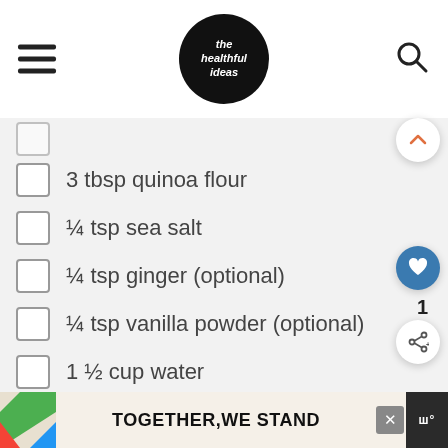the healthful ideas
3 tbsp quinoa flour
¼ tsp sea salt
¼ tsp ginger (optional)
¼ tsp vanilla powder (optional)
1 ½ cup water
1 ¼ cup almond milk
coconut oil (for cooking)
Strawberry Chia Jam (recipe
TOGETHER,WE STAND